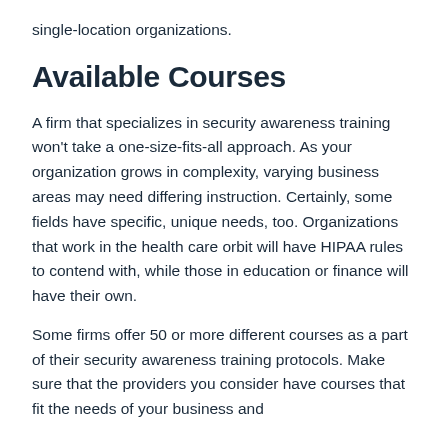single-location organizations.
Available Courses
A firm that specializes in security awareness training won't take a one-size-fits-all approach. As your organization grows in complexity, varying business areas may need differing instruction. Certainly, some fields have specific, unique needs, too. Organizations that work in the health care orbit will have HIPAA rules to contend with, while those in education or finance will have their own.
Some firms offer 50 or more different courses as a part of their security awareness training protocols. Make sure that the providers you consider have courses that fit the needs of your business and